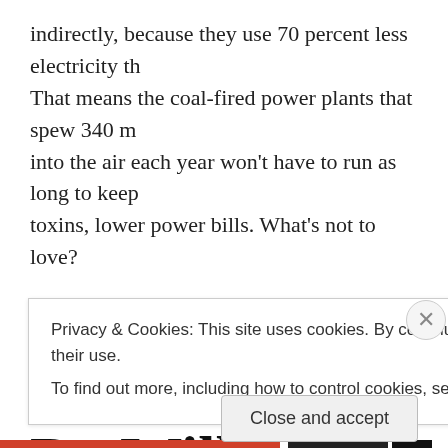indirectly, because they use 70 percent less electricity th That means the coal-fired power plants that spew 340 m into the air each year won't have to run as long to keep toxins, lower power bills. What's not to love?
Myth 7: A Trendy Kitche Do Will Increase My Ho Value
Privacy & Cookies: This site uses cookies. By continuing to use this website, you agree to their use.
To find out more, including how to control cookies, see here: Cookie Policy
Close and accept